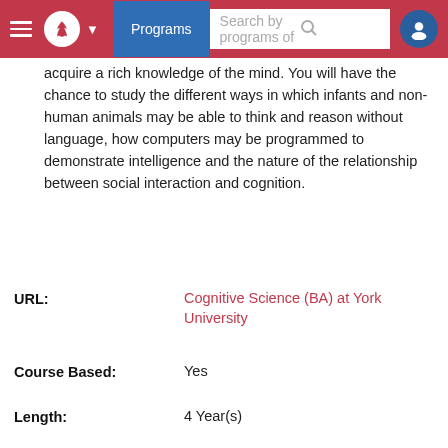Programs | Search by programs of
acquire a rich knowledge of the mind. You will have the chance to study the different ways in which infants and non-human animals may be able to think and reason without language, how computers may be programmed to demonstrate intelligence and the nature of the relationship between social interaction and cognition.
URL: Cognitive Science (BA) at York University
Course Based: Yes
Length: 4 Year(s)
Cost per year:* International:$32,502